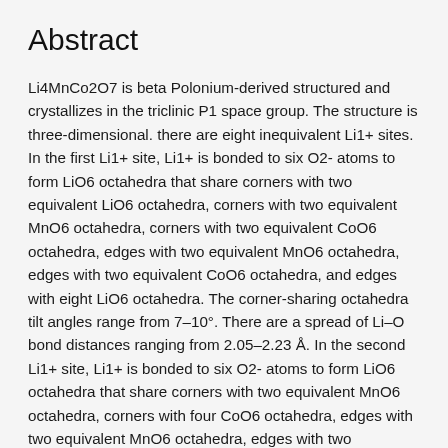Abstract
Li4MnCo2O7 is beta Polonium-derived structured and crystallizes in the triclinic P1 space group. The structure is three-dimensional. there are eight inequivalent Li1+ sites. In the first Li1+ site, Li1+ is bonded to six O2- atoms to form LiO6 octahedra that share corners with two equivalent LiO6 octahedra, corners with two equivalent MnO6 octahedra, corners with two equivalent CoO6 octahedra, edges with two equivalent MnO6 octahedra, edges with two equivalent CoO6 octahedra, and edges with eight LiO6 octahedra. The corner-sharing octahedra tilt angles range from 7–10°. There are a spread of Li–O bond distances ranging from 2.05–2.23 Å. In the second Li1+ site, Li1+ is bonded to six O2- atoms to form LiO6 octahedra that share corners with two equivalent MnO6 octahedra, corners with four CoO6 octahedra, edges with two equivalent MnO6 octahedra, edges with two equivalent CoO6 octahedra, and edges with